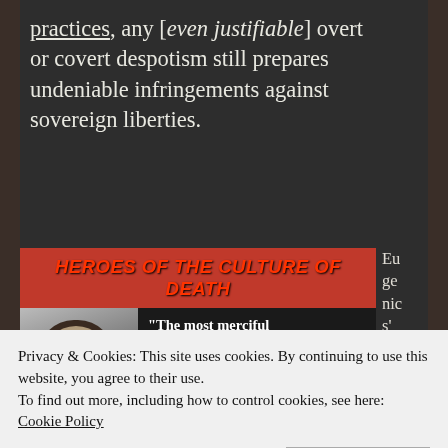practices, any [even justifiable] overt or covert despotism still prepares undeniable infringements against sovereign liberties.
[Figure (photo): Image with header 'HEROES OF THE CULTURE OF DEATH' in red italic text on black background, with a grayscale photo of a woman on the left and a quote beginning 'The most merciful thing that a large family' on the right.]
Eu ge nic s' att
Privacy & Cookies: This site uses cookies. By continuing to use this website, you agree to their use.
To find out more, including how to control cookies, see here: Cookie Policy
Close and accept
has